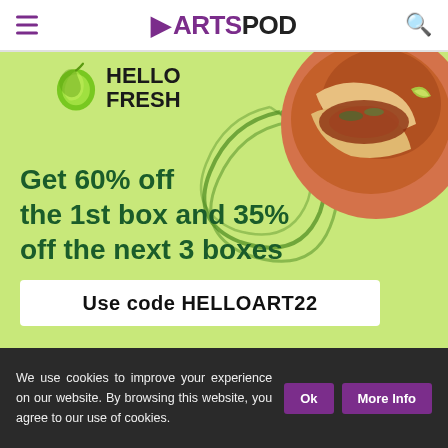▶ARTSPOD
[Figure (illustration): HelloFresh advertisement banner with lime green background, HelloFresh logo with lime icon, food photo (tacos on a plate), green swirl decoration, offer text 'Get 60% off the 1st box and 35% off the next 3 boxes', and promo code box 'Use code HELLOART22']
We use cookies to improve your experience on our website. By browsing this website, you agree to our use of cookies.